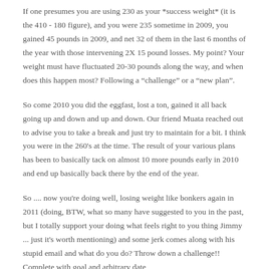If one presumes you are using 230 as your *success weight* (it is the 410 - 180 figure), and you were 235 sometime in 2009, you gained 45 pounds in 2009, and net 32 of them in the last 6 months of the year with those intervening 2X 15 pound losses. My point? Your weight must have fluctuated 20-30 pounds along the way, and when does this happen most? Following a "challenge" or a "new plan".
So come 2010 you did the eggfast, lost a ton, gained it all back going up and down and up and down. Our friend Muata reached out to advise you to take a break and just try to maintain for a bit. I think you were in the 260's at the time. The result of your various plans has been to basically tack on almost 10 more pounds early in 2010 and end up basically back there by the end of the year.
So .... now you're doing well, losing weight like bonkers again in 2011 (doing, BTW, what so many have suggested to you in the past, but I totally support your doing what feels right to you thing Jimmy ... just it's worth mentioning) and some jerk comes along with his stupid email and what do you do? Throw down a challenge!! Complete with goal and arbitrary date